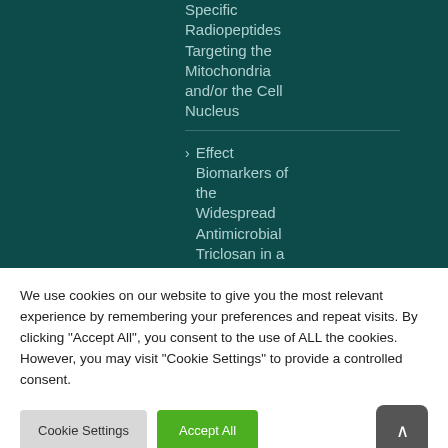Specific Radiopeptides Targeting the Mitochondria and/or the Cell Nucleus
Effect Biomarkers of the Widespread Antimicrobial Triclosan in a Marine Model
We use cookies on our website to give you the most relevant experience by remembering your preferences and repeat visits. By clicking “Accept All”, you consent to the use of ALL the cookies. However, you may visit "Cookie Settings" to provide a controlled consent.